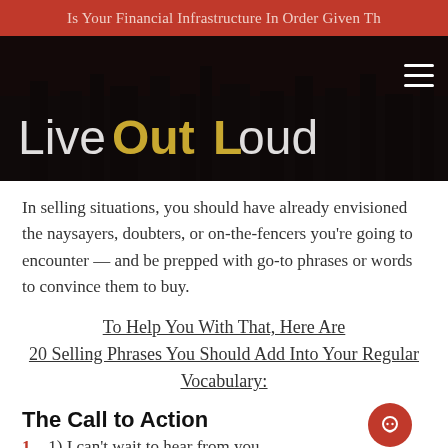Is Your Financial Infrastructure In Order Given Th
[Figure (logo): LiveOutLoud logo on dark city background with hamburger menu icon]
In selling situations, you should have already envisioned the naysayers, doubters, or on-the-fencers you're going to encounter — and be prepped with go-to phrases or words to convince them to buy.
To Help You With That, Here Are 20 Selling Phrases You Should Add Into Your Regular Vocabulary:
The Call to Action
1) I can't wait to hear from you.